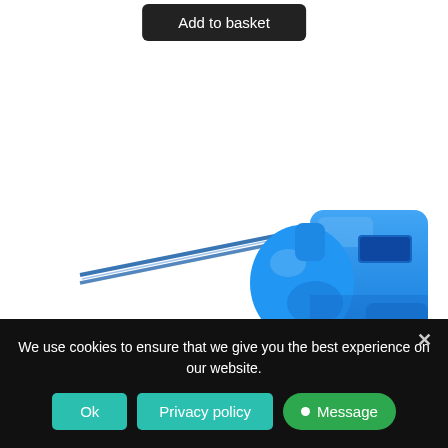Add to basket
[Figure (photo): A blue plastic whistle with blue lanyard cord on white background]
We use cookies to ensure that we give you the best experience on our website.
Ok
Privacy policy
Message